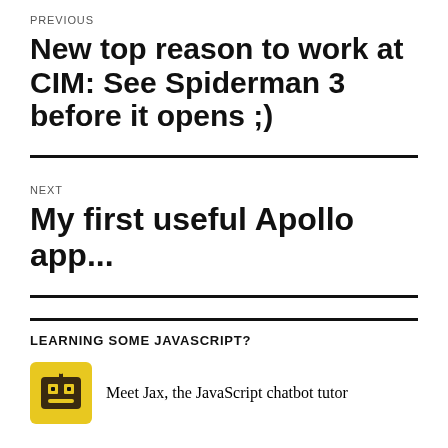PREVIOUS
New top reason to work at CIM: See Spiderman 3 before it opens ;)
NEXT
My first useful Apollo app...
LEARNING SOME JAVASCRIPT?
Meet Jax, the JavaScript chatbot tutor